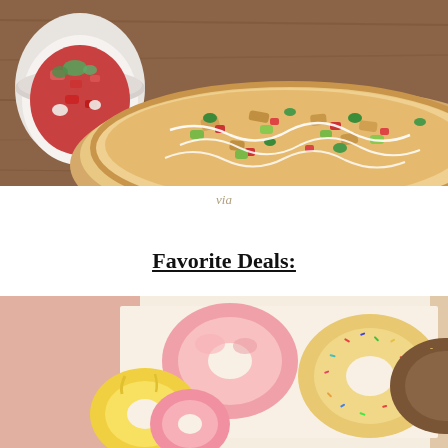[Figure (photo): Close-up photo of a flatbread pizza topped with chicken, avocado, tomatoes, cilantro, and a white drizzle sauce, served on a wooden board with a bowl of salsa on the side.]
via
Favorite Deals:
[Figure (photo): Photo of a pink bakery box containing assorted colorful donuts including a pink frosted donut, a yellow glazed donut, a rainbow sprinkle donut, and other varieties.]